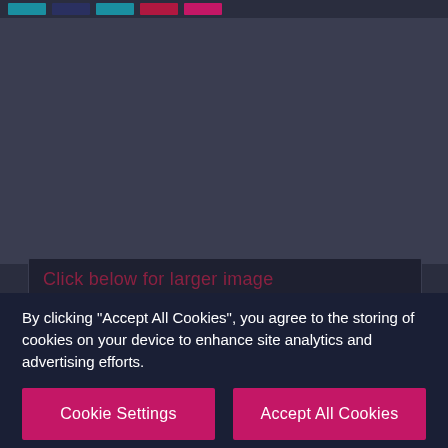[Figure (screenshot): Top navigation bar with color swatches (teal, dark blue, teal, crimson, pink) on dark background]
[Figure (screenshot): Dark background area showing partial website content above the floorplan section]
Click below for larger image
[Figure (schematic): Architectural floor plan showing ground floor and first floor of a residential property with room layouts]
By clicking "Accept All Cookies", you agree to the storing of cookies on your device to enhance site analytics and advertising efforts.
Cookie Settings
Accept All Cookies